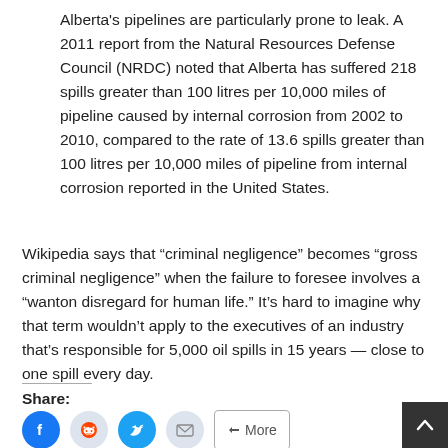Alberta's pipelines are particularly prone to leak. A 2011 report from the Natural Resources Defense Council (NRDC) noted that Alberta has suffered 218 spills greater than 100 litres per 10,000 miles of pipeline caused by internal corrosion from 2002 to 2010, compared to the rate of 13.6 spills greater than 100 litres per 10,000 miles of pipeline from internal corrosion reported in the United States.
Wikipedia says that “criminal negligence” becomes “gross criminal negligence” when the failure to foresee involves a “wanton disregard for human life.” It’s hard to imagine why that term wouldn’t apply to the executives of an industry that’s responsible for 5,000 oil spills in 15 years — close to one spill every day.
Share: